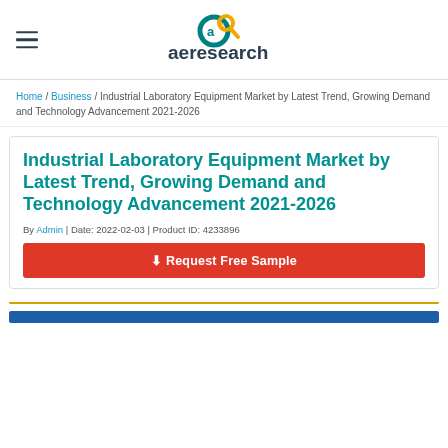aeresearch (logo)
Home / Business / Industrial Laboratory Equipment Market by Latest Trend, Growing Demand and Technology Advancement 2021-2026
Industrial Laboratory Equipment Market by Latest Trend, Growing Demand and Technology Advancement 2021-2026
By Admin | Date: 2022-02-03 | Product ID: 4233896
⬇ Request Free Sample